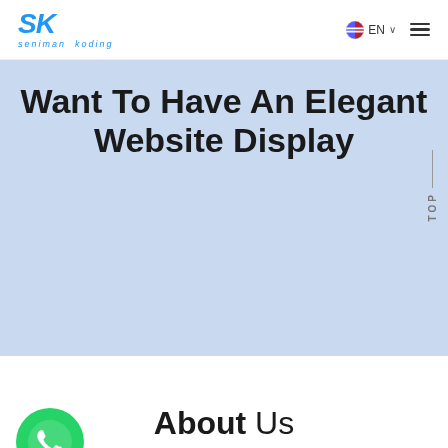SK seniman koding | EN | Menu
Want To Have An Elegant Website Display
CONTACT US
[Figure (logo): WhatsApp green logo icon]
About Us